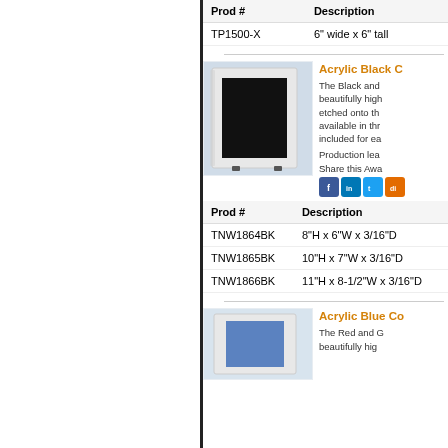| Prod # | Description |
| --- | --- |
| TP1500-X | 6" wide x 6" tall |
[Figure (photo): Acrylic black certificate/award frame with black insert, shown at an angle on a light blue background]
Acrylic Black C
The Black and beautifully high etched onto th available in thr included for ea
Production lea
Share this Awa
| Prod # | Description |
| --- | --- |
| TNW1864BK | 8"H x 6"W x 3/16"D |
| TNW1865BK | 10"H x 7"W x 3/16"D |
| TNW1866BK | 11"H x 8-1/2"W x 3/16"D |
[Figure (photo): Acrylic blue certificate/award frame with blue insert, partially visible at bottom of page]
Acrylic Blue Co
The Red and G beautifully hig